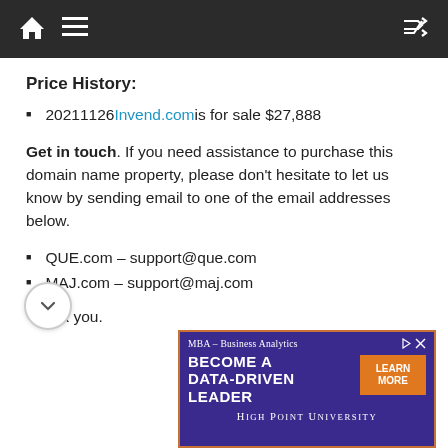Navigation bar with home, menu, and shuffle icons
Price History:
20211126 Invend.com is for sale $27,888
Get in touch. If you need assistance to purchase this domain name property, please don't hesitate to let us know by sending email to one of the email addresses below.
QUE.com – support@que.com
MAJ.com – support@maj.com
Thank you.
[Figure (other): Advertisement banner for High Point University MBA Business Analytics program: 'BECOME A DATA-DRIVEN LEADER' with orange Learn More button]